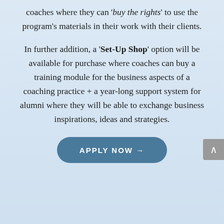coaches where they can 'buy the rights' to use the program's materials in their work with their clients.
In further addition, a 'Set-Up Shop' option will be available for purchase where coaches can buy a training module for the business aspects of a coaching practice + a year-long support system for alumni where they will be able to exchange business inspirations, ideas and strategies.
APPLY NOW →